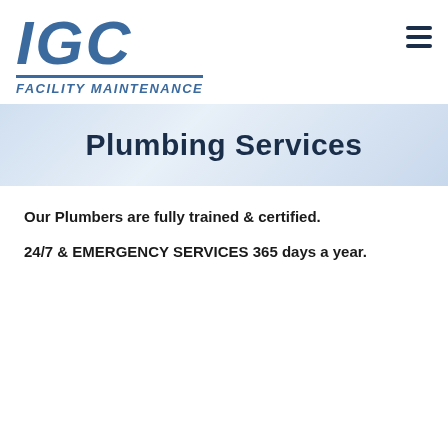[Figure (logo): IGC Facility Maintenance logo in blue italic bold text with underline and subtitle]
Plumbing Services
Our Plumbers are fully trained & certified.
24/7 & EMERGENCY SERVICES 365 days a year.